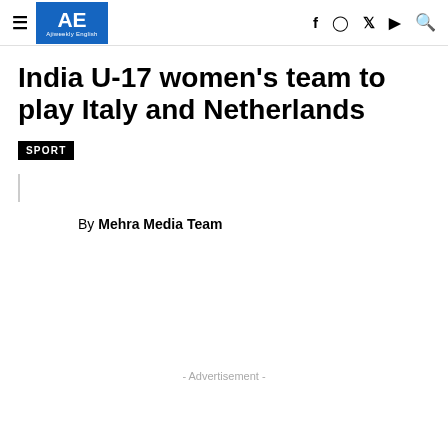AE Ajiweekly English
India U-17 women's team to play Italy and Netherlands
SPORT
By Mehra Media Team
- Advertisement -